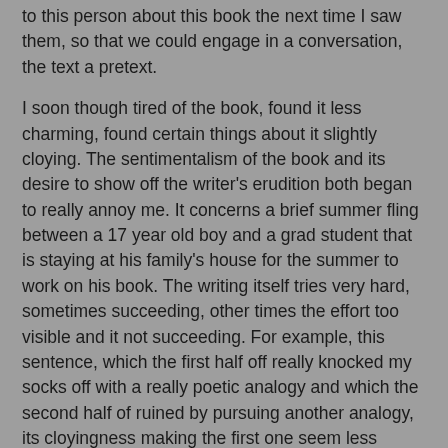to this person about this book the next time I saw them, so that we could engage in a conversation, the text a pretext.
I soon though tired of the book, found it less charming, found certain things about it slightly cloying. The sentimentalism of the book and its desire to show off the writer's erudition both began to really annoy me. It concerns a brief summer fling between a 17 year old boy and a grad student that is staying at his family's house for the summer to work on his book. The writing itself tries very hard, sometimes succeeding, other times the effort too visible and it not succeeding. For example, this sentence, which the first half off really knocked my socks off with a really poetic analogy and which the second half of ruined by pursuing another analogy, its cloyingness making the first one seem less magical:
How wonderful to feel his hands all over me under the sheets, as if part of us, like an advance scouting party, had already arrived at intimacy, while the rest of us, exposed outside the sheets, was still struggling with niceties, like latecomers stamping their feet in the cold while everyone else is warming hands inside a crowded nightclub. (132)